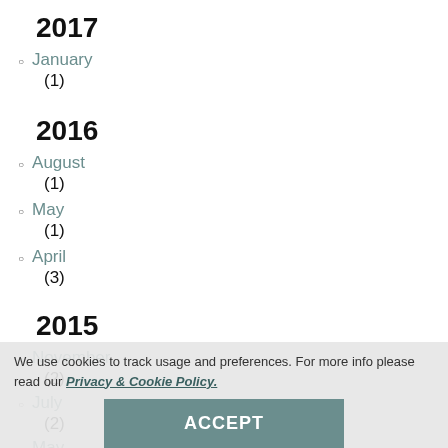2017
January (1)
2016
August (1)
May (1)
April (3)
2015
November (2)
July (2)
May (1)
We use cookies to track usage and preferences. For more info please read our Privacy & Cookie Policy.